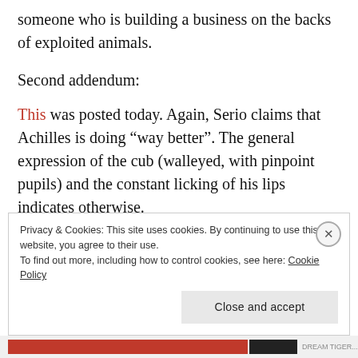someone who is building a business on the backs of exploited animals.
Second addendum:
This was posted today. Again, Serio claims that Achilles is doing “way better”. The general expression of the cub (walleyed, with pinpoint pupils) and the constant licking of his lips indicates otherwise.
Privacy & Cookies: This site uses cookies. By continuing to use this website, you agree to their use. To find out more, including how to control cookies, see here: Cookie Policy
Close and accept